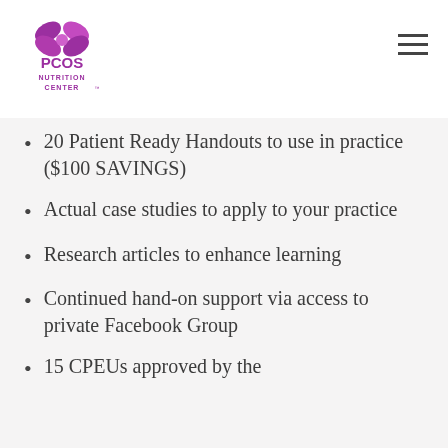[Figure (logo): PCOS Nutrition Center logo with purple butterfly/flower icon above text 'PCOS NUTRITION CENTER']
20 Patient Ready Handouts to use in practice  ($100 SAVINGS)
Actual case studies to apply to your practice
Research articles to enhance learning
Continued hand-on support via access to private Facebook Group
15 CPEUs approved by the